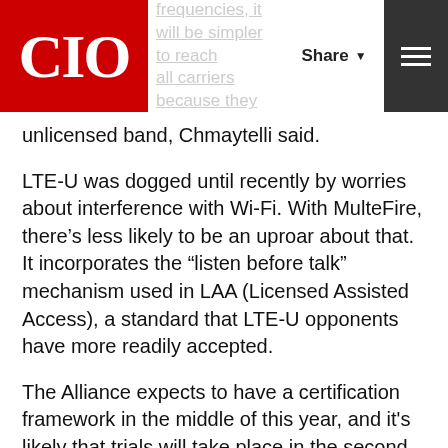CIO — [partial header text] nsed frequencies, it will be simpler to reach all carriers because they can all use one
unlicensed band, Chmaytelli said.
LTE-U was dogged until recently by worries about interference with Wi-Fi. With MulteFire, there’s less likely to be an uproar about that. It incorporates the “listen before talk” mechanism used in LAA (Licensed Assisted Access), a standard that LTE-U opponents have more readily accepted.
The Alliance expects to have a certification framework in the middle of this year, and it’s likely that trials will take place in the second half. The building blocks of MulteFire within LTE are essentially done, and once networks and devices ship with those, it should be a fairly easy step to make them work with MulteFire, too, Chmaytelli said.
Still, the enterprise network industry is a pretty big ship to